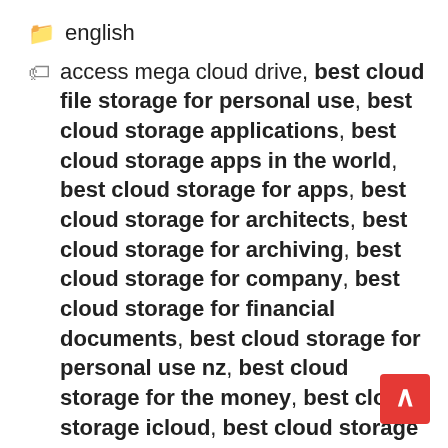📁 english
🏷 access mega cloud drive, best cloud file storage for personal use, best cloud storage applications, best cloud storage apps in the world, best cloud storage for apps, best cloud storage for architects, best cloud storage for archiving, best cloud storage for company, best cloud storage for financial documents, best cloud storage for personal use nz, best cloud storage for the money, best cloud storage icloud, best cloud storage in the world, best cloud storage mega, best cloud storage mega.nz, best cloud storage nz, best cloud storage nz 2022, best cloud storage paid, best cloud storage providers in the world, best cloud storage...